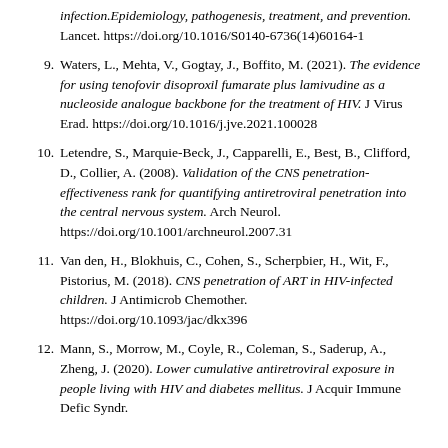[continuation] infection.Epidemiology, pathogenesis, treatment, and prevention. Lancet. https://doi.org/10.1016/S0140-6736(14)60164-1
9. Waters, L., Mehta, V., Gogtay, J., Boffito, M. (2021). The evidence for using tenofovir disoproxil fumarate plus lamivudine as a nucleoside analogue backbone for the treatment of HIV. J Virus Erad. https://doi.org/10.1016/j.jve.2021.100028
10. Letendre, S., Marquie-Beck, J., Capparelli, E., Best, B., Clifford, D., Collier, A. (2008). Validation of the CNS penetration-effectiveness rank for quantifying antiretroviral penetration into the central nervous system. Arch Neurol. https://doi.org/10.1001/archneurol.2007.31
11. Van den, H., Blokhuis, C., Cohen, S., Scherpbier, H., Wit, F., Pistorius, M. (2018). CNS penetration of ART in HIV-infected children. J Antimicrob Chemother. https://doi.org/10.1093/jac/dkx396
12. Mann, S., Morrow, M., Coyle, R., Coleman, S., Saderup, A., Zheng, J. (2020). Lower cumulative antiretroviral exposure in people living with HIV and diabetes mellitus. J Acquir Immune Defic Syndr.